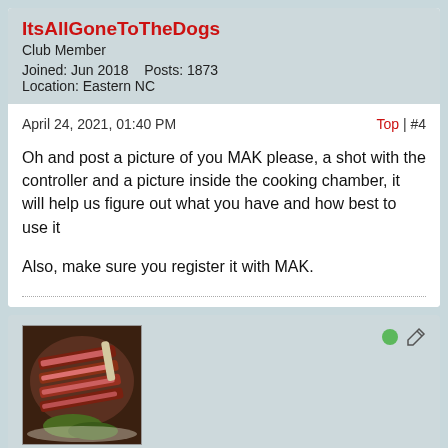ItsAllGoneToTheDogs
Club Member
Joined: Jun 2018    Posts: 1873
Location: Eastern NC
April 24, 2021, 01:40 PM
Top | #4
Oh and post a picture of you MAK please, a shot with the controller and a picture inside the cooking chamber, it will help us figure out what you have and how best to use it

Also, make sure you register it with MAK.
[Figure (photo): Avatar image showing sliced grilled meat (steak) with vegetables on a plate]
glitchy
Club Member
Joined: Jul 2019    Posts: 1941
Location: Central IA